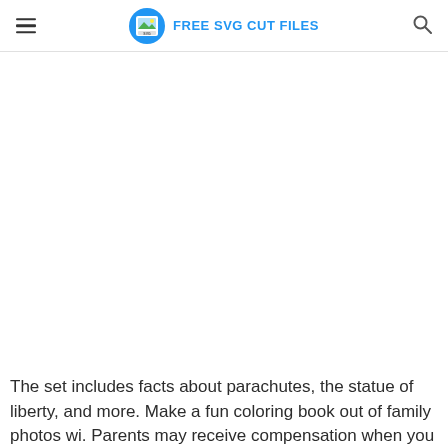FREE SVG CUT FILES
[Figure (other): Large blank white content area, likely a placeholder for an image or advertisement]
The set includes facts about parachutes, the statue of liberty, and more. Make a fun coloring book out of family photos wi. Parents may receive compensation when you click through and